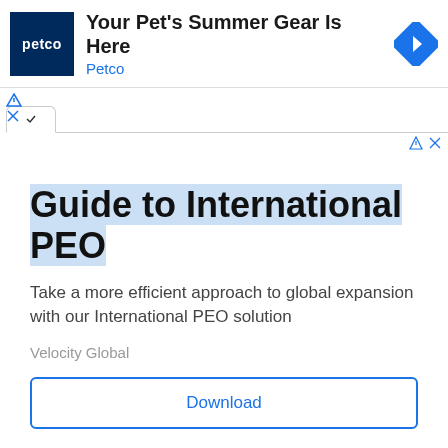[Figure (screenshot): Petco advertisement banner with logo, headline 'Your Pet's Summer Gear Is Here', brand name 'Petco', and navigation arrow icon]
Guide to International PEO
Take a more efficient approach to global expansion with our International PEO solution
Velocity Global
Download